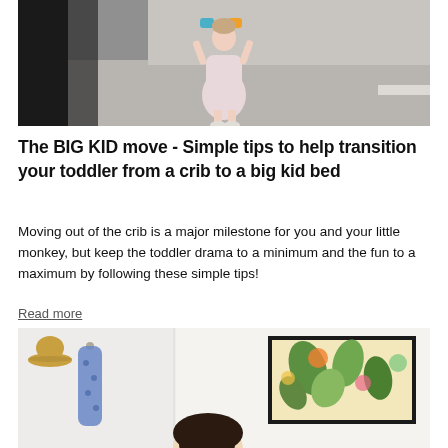[Figure (photo): Photo of a toddler standing on a grey carpet in a room, wearing a light pink dress and white shoes, viewed partially from behind.]
The BIG KID move - Simple tips to help transition your toddler from a crib to a big kid bed
Moving out of the crib is a major milestone for you and your little monkey, but keep the toddler drama to a minimum and the fun to a maximum by following these simple tips!
Read more
[Figure (photo): Photo showing the bottom portion of a room scene with a hat and blue scarf on wall hooks on the left, and a colorful artwork in a black frame hanging on a white wall on the right. A person with dark hair is partially visible at the bottom.]